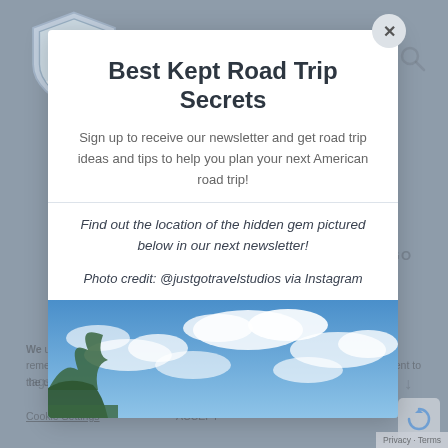[Figure (illustration): Website background showing a road trip website with a shield logo, navigation, cookie consent bar, and the word tags visible. A greyed-out backdrop behind the modal popup.]
Best Kept Road Trip Secrets
Sign up to receive our newsletter and get road trip ideas and tips to help you plan your next American road trip!
Find out the location of the hidden gem pictured below in our next newsletter!
Photo credit: @justgotravelstudios via Instagram
[Figure (photo): Landscape photo showing blue sky with white clouds and green trees/cliffs in the lower left corner.]
We use cookies on our website to give you the most relevant experience by remembering your preferences and repeat visits. By clicking "Accept", you consent to the use of ALL the cookies.
Cookie Settings     ACCEPT